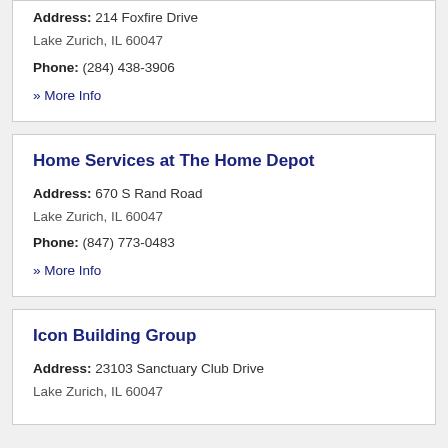Address: 214 Foxfire Drive
Lake Zurich, IL 60047
Phone: (847) 438-3906
» More Info
Home Services at The Home Depot
Address: 670 S Rand Road
Lake Zurich, IL 60047
Phone: (847) 773-0483
» More Info
Icon Building Group
Address: 23103 Sanctuary Club Drive
Lake Zurich, IL 60047